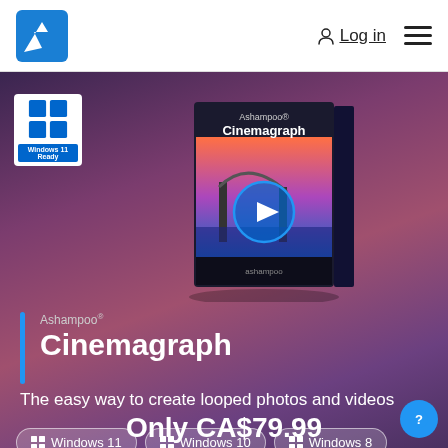[Figure (logo): Ashampoo blue diagonal logo mark]
Log in
[Figure (photo): Ashampoo Cinemagraph software product box with Golden Gate Bridge image]
[Figure (logo): Windows 11 Ready badge with Windows logo]
Ashampoo®
Cinemagraph
The easy way to create looped photos and videos
Windows 11
Windows 10
Windows 8
Windows 7
Only CA$79.99